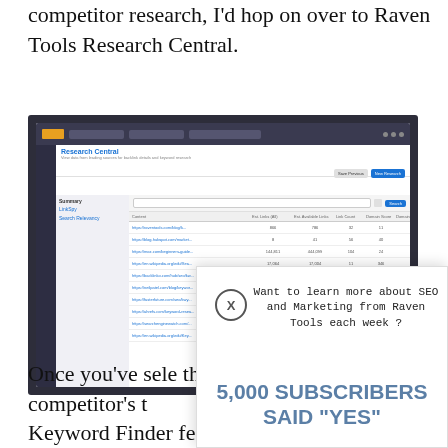competitor research, I'd hop on over to Raven Tools Research Central.
[Figure (screenshot): Screenshot of Raven Tools Research Central interface showing a data table with competitor backlink research data, with columns for URL, Est. Links (All), Est. Available Links, Link Count, Domain Score, Domain Authority, Page Authority, and other metrics. Multiple competitor URLs are listed as rows.]
[Figure (infographic): Popup overlay with X close button showing text 'Want to learn more about SEO and Marketing from Raven Tools each week?' and large text '5,000 SUBSCRIBERS SAID "YES"']
Once you've sele the competitor's t Keyword Finder fe